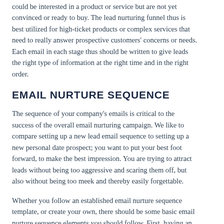could be interested in a product or service but are not yet convinced or ready to buy. The lead nurturing funnel thus is best utilized for high-ticket products or complex services that need to really answer prospective customers' concerns or needs. Each email in each stage thus should be written to give leads the right type of information at the right time and in the right order.
EMAIL NURTURE SEQUENCE
The sequence of your company's emails is critical to the success of the overall email nurturing campaign. We like to compare setting up a new lead email sequence to setting up a new personal date prospect; you want to put your best foot forward, to make the best impression. You are trying to attract leads without being too aggressive and scaring them off, but also without being too meek and thereby easily forgettable.
Whether you follow an established email nurture sequence template, or create your own, there should be some basic email nurture sequence elements you should follow. First, having an interesting and relevant subject line for every